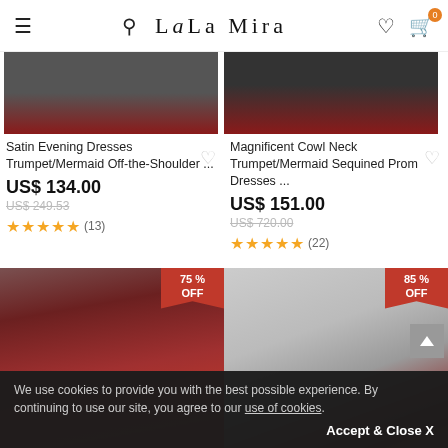LaLa Mira
[Figure (photo): Product photo top left - Satin Evening Dress Trumpet/Mermaid Off-the-Shoulder, dark background]
Satin Evening Dresses Trumpet/Mermaid Off-the-Shoulder ...
US$ 134.00
US$ 249.53
★★★★★ (13)
[Figure (photo): Product photo top right - Magnificent Cowl Neck Trumpet/Mermaid Sequined Prom Dress, dark background]
Magnificent Cowl Neck Trumpet/Mermaid Sequined Prom Dresses ...
US$ 151.00
US$ 720.00
★★★★★ (22)
[Figure (photo): Product photo bottom left - woman with tiara wearing a red ball gown tulle dress outdoors, 75% OFF badge]
[Figure (photo): Product photo bottom right - woman in red satin slip dress leaning against wall, 85% OFF badge]
We use cookies to provide you with the best possible experience. By continuing to use our site, you agree to our use of cookies.
Accept & Close X